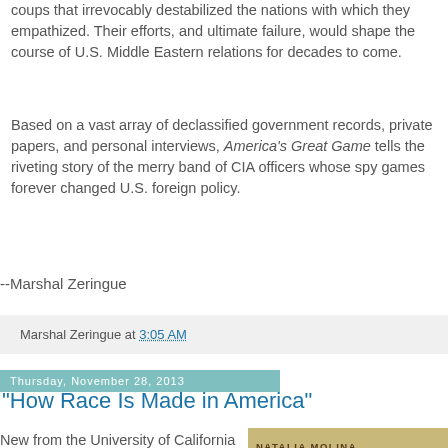coups that irrevocably destabilized the nations with which they empathized. Their efforts, and ultimate failure, would shape the course of U.S. Middle Eastern relations for decades to come.
Based on a vast array of declassified government records, private papers, and personal interviews, America's Great Game tells the riveting story of the merry band of CIA officers whose spy games forever changed U.S. foreign policy.
--Marshal Zeringue
Marshal Zeringue at 3:05 AM
Thursday, November 28, 2013
"How Race Is Made in America"
New from the University of California Press: How Race Is Made in America: